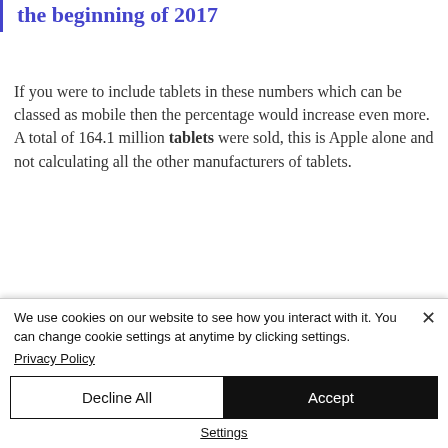the beginning of 2017
If you were to include tablets in these numbers which can be classed as mobile then the percentage would increase even more.  A total of 164.1 million tablets were sold, this is Apple alone and not calculating all the other manufacturers of tablets.
We use cookies on our website to see how you interact with it. You can change cookie settings at anytime by clicking settings.
Privacy Policy
Decline All
Accept
Settings